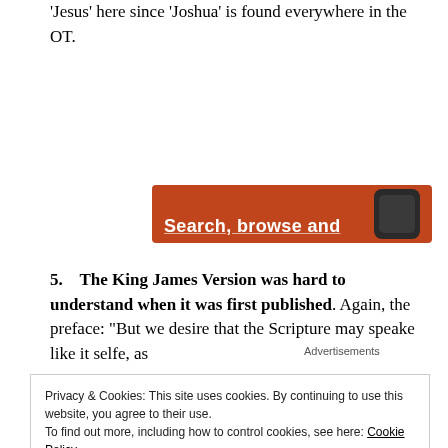'Jesus' here since 'Joshua' is found everywhere in the OT.
[Figure (screenshot): Advertisements banner with orange background showing partial text 'Search, browse and' with a dark smartphone graphic on the right]
5.    The King James Version was hard to understand when it was first published. Again, the preface: “But we desire that the Scripture may speake like it selfe, as
Privacy & Cookies: This site uses cookies. By continuing to use this website, you agree to their use.
To find out more, including how to control cookies, see here: Cookie Policy
Close and accept